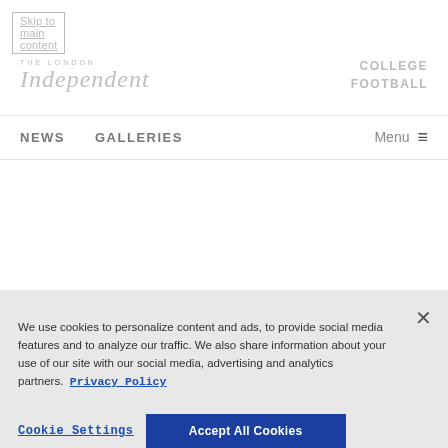Skip to main content
[Figure (logo): The London Independent newspaper logo with italic serif font]
COLLEGE FOOTBALL
NEWS   GALLERIES   Menu
We use cookies to personalize content and ads, to provide social media features and to analyze our traffic. We also share information about your use of our site with our social media, advertising and analytics partners.  Privacy Policy
Cookie Settings    Accept All Cookies